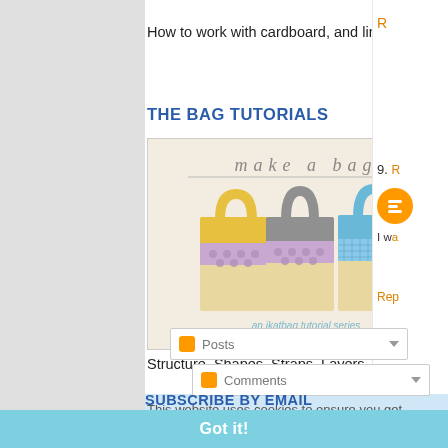How to work with cardboard, and links to cardboard crafts
THE BAG TUTORIALS
[Figure (photo): Photo of three small fabric tote bags with the text 'make a bag' and subtitle 'an ikatbag tutorial series']
Structure, Shapes, Straps, Layers, Reversibility
This website uses cookies to ensure you get the best experience on our website.
SUBSCRIBE TO IKATBAG
Posts
Comments
Got it!
SUBSCRIBE BY EMAIL